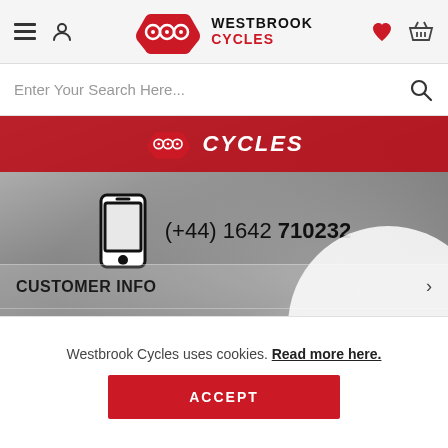[Figure (screenshot): Westbrook Cycles website header with hamburger menu, user icon, logo, heart and basket icons]
Enter Your Search Here...
[Figure (screenshot): Westbrook Cycles banner image with red logo, phone icon and number (+44) 1642 710232, CUSTOMER INFO and ORDERS menu items, and a bike/helmet background]
Westbrook Cycles uses cookies. Read more here.
ACCEPT